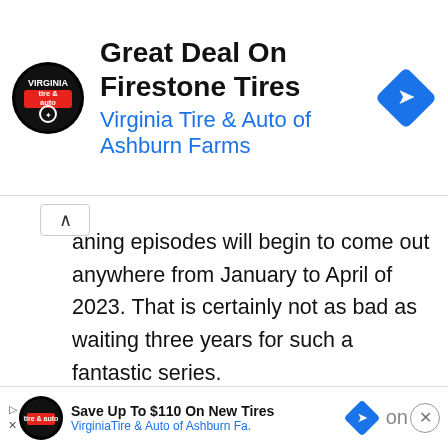[Figure (screenshot): Top advertisement banner: Virginia Tire & Auto logo (circular black badge), heading 'Great Deal On Firestone Tires', subheading 'Virginia Tire & Auto of Ashburn Farms', blue diamond navigation icon on right.]
...aning episodes will begin to come out anywhere from January to April of 2023. That is certainly not as bad as waiting three years for such a fantastic series.
Barry follows Barry Berkman, a hitman who has all but lost his ambition to kill people for a living. The man has lost his taste for killing and has now turned his life around to become an actor after he stumbles upon an acting class while chasing down a man he has been task...
[Figure (screenshot): Bottom advertisement banner: Virginia Tire & Auto logo (small circular), 'Save Up To $110 On New Tires', 'VirginiaTire & Auto of Ashburn Fa.', blue diamond navigation icon, close button.]